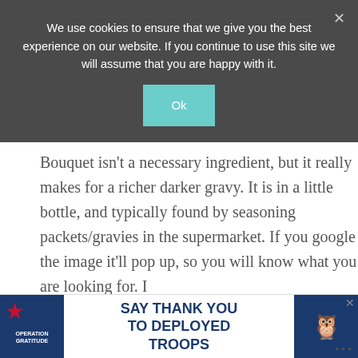We use cookies to ensure that we give you the best experience on our website. If you continue to use this site we will assume that you are happy with it.
Ok
Bouquet isn’t a necessary ingredient, but it really makes for a richer darker gravy. It is in a little bottle, and typically found by seasoning packets/gravies in the supermarket. If you google the image it’ll pop up, so you will know what you are looking for. I
[Figure (infographic): Operation Gratitude advertisement banner: SAY THANK YOU TO DEPLOYED TROOPS with patriotic imagery and an owl cartoon.]